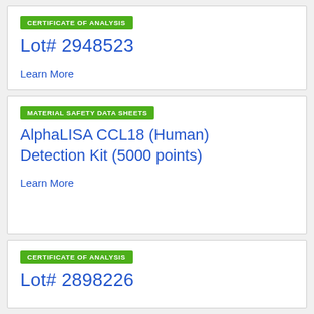CERTIFICATE OF ANALYSIS
Lot# 2948523
Learn More
MATERIAL SAFETY DATA SHEETS
AlphaLISA CCL18 (Human) Detection Kit (5000 points)
Learn More
CERTIFICATE OF ANALYSIS
Lot# 2898226